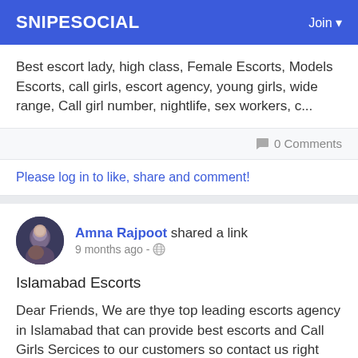SNIPESOCIAL   Join
Best escort lady, high class, Female Escorts, Models Escorts, call girls, escort agency, young girls, wide range, Call girl number, nightlife, sex workers, c...
0 Comments
Please log in to like, share and comment!
Amna Rajpoot shared a link
9 months ago -
Islamabad Escorts
Dear Friends, We are thye top leading escorts agency in Islamabad that can provide best escorts and Call Girls Sercices to our customers so contact us right
Read more